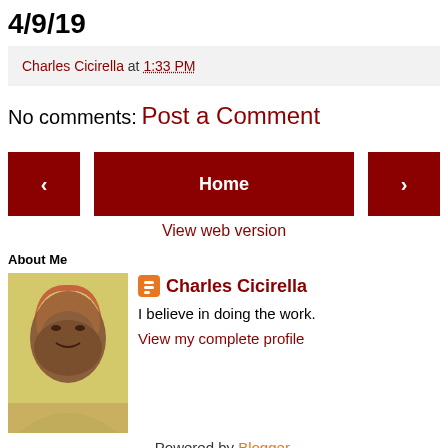4/9/19
Charles Cicirella at 1:33 PM
No comments:
Post a Comment
< Home >
View web version
About Me
Charles Cicirella
I believe in doing the work.
View my complete profile
Powered by Blogger.